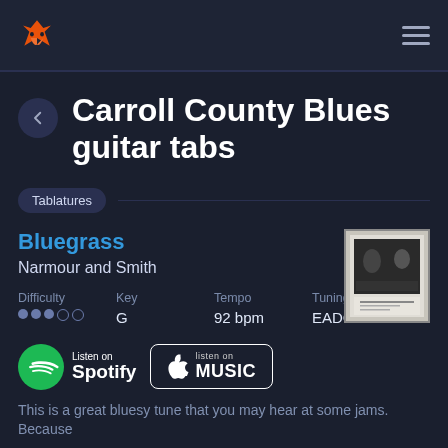Carroll County Blues guitar tabs - Navigation header with logo and menu
Carroll County Blues guitar tabs
Tablatures
Bluegrass
Narmour and Smith
| Difficulty | Key | Tempo | Tuning |
| --- | --- | --- | --- |
| ●●●○○ | G | 92 bpm | EADGBE |
[Figure (logo): Spotify logo - Listen on Spotify button]
[Figure (logo): Apple Music - listen on Apple MUSIC button]
[Figure (photo): Album art thumbnail - black and white photo]
This is a great bluesy tune that you may hear at some jams. Because